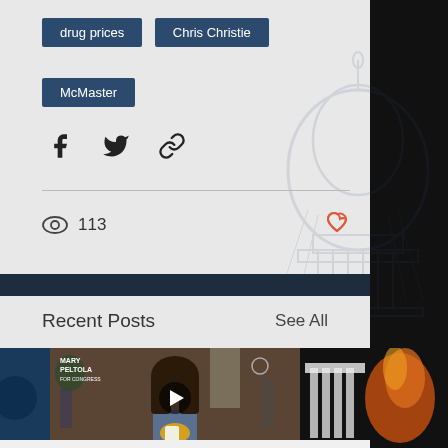drug prices
Chris Christie
McMaster
113 views · like button
Recent Posts
See All
[Figure (photo): Video thumbnail showing a woman in a denim jacket sitting in a cafe holding a coffee cup, with a play button overlay. Text overlay reads MARY PELTOLA FOR CONGRESS.]